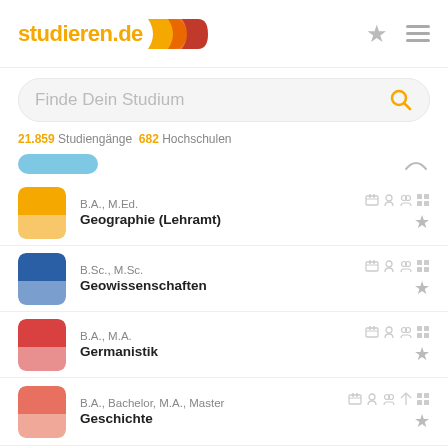[Figure (logo): studieren.de logo with colored arrow/chevron shapes in orange and red]
Finde Dein Studium
21.859 Studiengänge   682 Hochschulen
B.A., M.Ed. Geographie (Lehramt)
B.Sc., M.Sc. Geowissenschaften
B.A., M.A. Germanistik
B.A., Bachelor, M.A., Master Geschichte